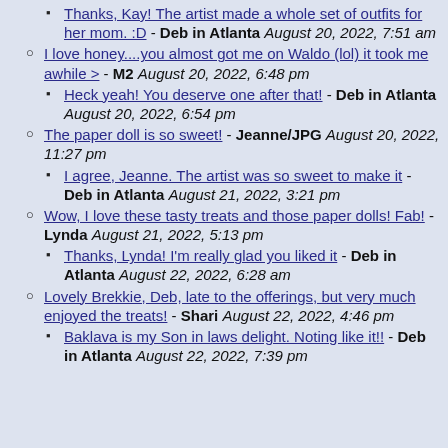Thanks, Kay! The artist made a whole set of outfits for her mom. :D - Deb in Atlanta August 20, 2022, 7:51 am
I love honey....you almost got me on Waldo (lol) it took me awhile > - M2 August 20, 2022, 6:48 pm
Heck yeah! You deserve one after that! - Deb in Atlanta August 20, 2022, 6:54 pm
The paper doll is so sweet! - Jeanne/JPG August 20, 2022, 11:27 pm
I agree, Jeanne. The artist was so sweet to make it - Deb in Atlanta August 21, 2022, 3:21 pm
Wow, I love these tasty treats and those paper dolls! Fab! - Lynda August 21, 2022, 5:13 pm
Thanks, Lynda! I'm really glad you liked it - Deb in Atlanta August 22, 2022, 6:28 am
Lovely Brekkie, Deb, late to the offerings, but very much enjoyed the treats! - Shari August 22, 2022, 4:46 pm
Baklava is my Son in laws delight. Noting like it!! - Deb in Atlanta August 22, 2022, 7:39 pm